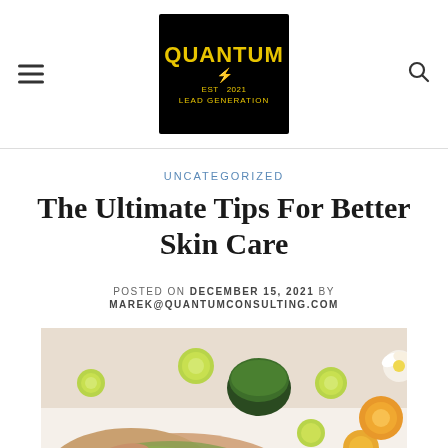Quantum Lead Generation — navigation header with hamburger menu, logo, and search icon
UNCATEGORIZED
The Ultimate Tips For Better Skin Care
POSTED ON DECEMBER 15, 2021 BY MAREK@QUANTUMCONSULTING.COM
[Figure (photo): A woman receiving a green herbal body scrub spa treatment, lying face up, with sliced citrus fruits, a bowl of green herbs, and flower petals arranged around her on a white surface. Her back is covered in green scrub powder being applied by a therapist's hands.]